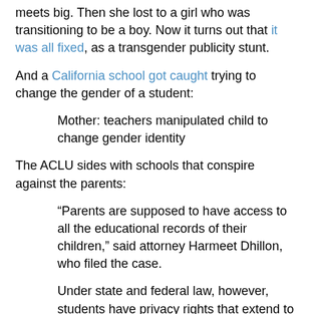meets big. Then she lost to a girl who was transitioning to be a boy. Now it turns out that it was all fixed, as a transgender publicity stunt.
And a California school got caught trying to change the gender of a student:
Mother: teachers manipulated child to change gender identity
The ACLU sides with schools that conspire against the parents:
“Parents are supposed to have access to all the educational records of their children,” said attorney Harmeet Dhillon, who filed the case.
Under state and federal law, however, students have privacy rights that extend to sexual orientation and gender identity, according to the American Civil Liberties Union. Only in limited circumstances can a school notify a parent of their child’s sexual identity against their wishes.